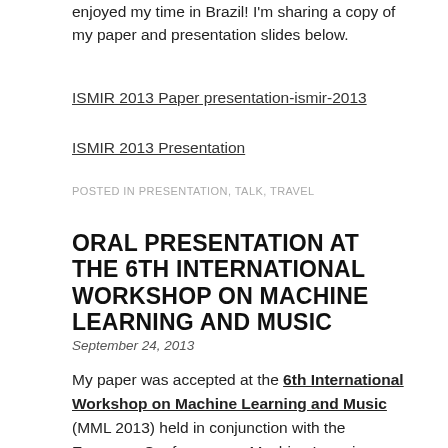enjoyed my time in Brazil! I'm sharing a copy of my paper and presentation slides below.
ISMIR 2013 Paper presentation-ismir-2013
ISMIR 2013 Presentation
POSTED IN PRESENTATION, TALK, TRAVEL
ORAL PRESENTATION AT THE 6TH INTERNATIONAL WORKSHOP ON MACHINE LEARNING AND MUSIC
September 24, 2013
My paper was accepted at the 6th International Workshop on Machine Learning and Music (MML 2013) held in conjunction with the European Conference on Machine Learning (ECML 2013) this year. The paper is titled "A Neural Probabilistic Model for Predicting..."